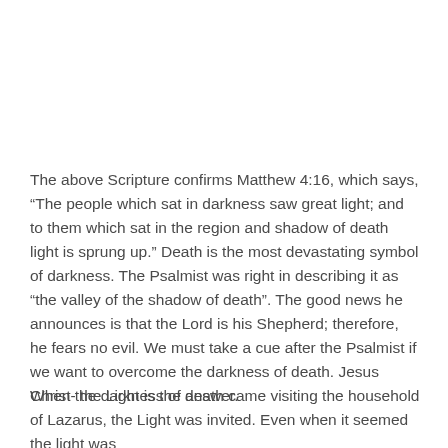The above Scripture confirms Matthew 4:16, which says, “The people which sat in darkness saw great light; and to them which sat in the region and shadow of death light is sprung up.” Death is the most devastating symbol of darkness. The Psalmist was right in describing it as “the valley of the shadow of death”. The good news he announces is that the Lord is his Shepherd; therefore, he fears no evil. We must take a cue after the Psalmist if we want to overcome the darkness of death. Jesus Christ- the Light is the answer.
When the darkness of death came visiting the household of Lazarus, the Light was invited. Even when it seemed the light was